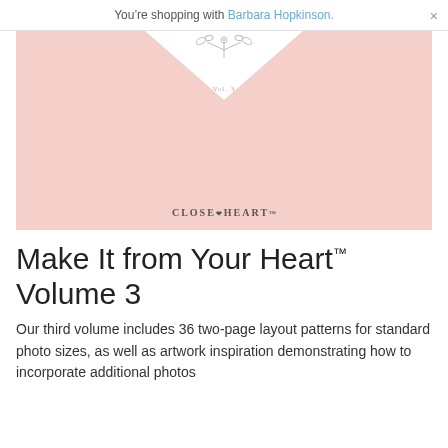You’re shopping with Barbara Hopkinson.
[Figure (photo): Product cover image for 'Make It from Your Heart Volume 3' by Close To My Heart. Pink background with white floral/lace pattern, a white chevron/triangle shape at the top center, a small decorative floral sprig illustration, 'Vol. 3' text, and the Close To My Heart brand logo at the bottom.]
Make It from Your Heart™ Volume 3
Our third volume includes 36 two-page layout patterns for standard photo sizes, as well as artwork inspiration demonstrating how to incorporate additional photos